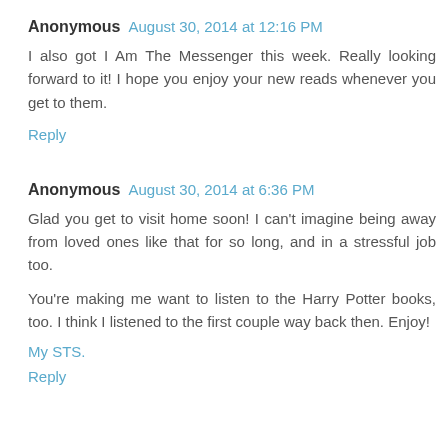Anonymous  August 30, 2014 at 12:16 PM
I also got I Am The Messenger this week. Really looking forward to it! I hope you enjoy your new reads whenever you get to them.
Reply
Anonymous  August 30, 2014 at 6:36 PM
Glad you get to visit home soon! I can't imagine being away from loved ones like that for so long, and in a stressful job too.
You're making me want to listen to the Harry Potter books, too. I think I listened to the first couple way back then. Enjoy!
My STS.
Reply